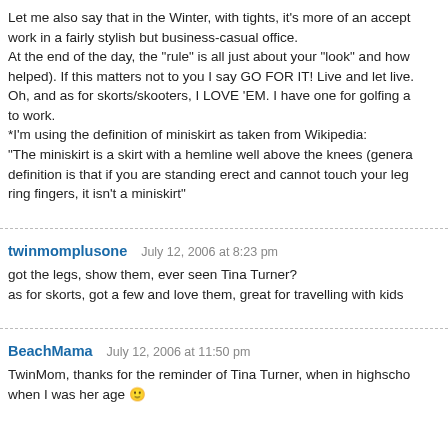Let me also say that in the Winter, with tights, it's more of an acceptable look to work in a fairly stylish but business-casual office. At the end of the day, the "rule" is all just about your "look" and how (helped). If this matters not to you I say GO FOR IT! Live and let live. Oh, and as for skorts/skooters, I LOVE 'EM. I have one for golfing and one to work. *I'm using the definition of miniskirt as taken from Wikipedia: "The miniskirt is a skirt with a hemline well above the knees (generally definition is that if you are standing erect and cannot touch your legs with ring fingers, it isn't a miniskirt"
twinmomplusone  July 12, 2006 at 8:23 pm
got the legs, show them, ever seen Tina Turner?
as for skorts, got a few and love them, great for travelling with kids
BeachMama  July 12, 2006 at 11:50 pm
TwinMom, thanks for the reminder of Tina Turner, when in highschool when I was her age 🙂